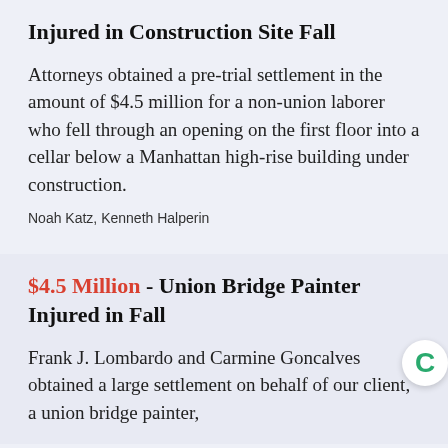Injured in Construction Site Fall
Attorneys obtained a pre-trial settlement in the amount of $4.5 million for a non-union laborer who fell through an opening on the first floor into a cellar below a Manhattan high-rise building under construction.
Noah Katz, Kenneth Halperin
$4.5 Million - Union Bridge Painter Injured in Fall
Frank J. Lombardo and Carmine Goncalves obtained a large settlement on behalf of our client, a union bridge painter,